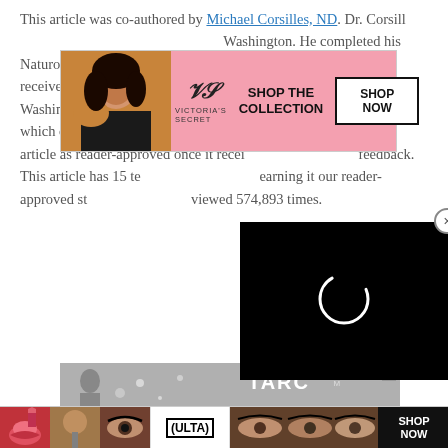This article was co-authored by Michael Corsilles, ND. Dr. Corsilles is a naturopathic physician practicing in Washington. He completed his Naturopathic medical training at Bastyr University in 2003, and received his Physician Assistant certification from the University of Washington in 2010.There are 12 references cited in this article, which can be found at the bottom of the page.wikiHow marks an article as reader-approved once it receives enough positive feedback. This article has 15 testimonials from our readers, earning it our reader-approved status. This article has been viewed 574,893 times.
[Figure (screenshot): Victoria's Secret advertisement banner with model photo, VS logo, 'SHOP THE COLLECTION' text, and 'SHOP NOW' button]
[Figure (screenshot): Video loading overlay with black background and white spinner/loading circle]
[Figure (screenshot): TARC CLASSROOM advertisement with close button]
[Figure (screenshot): ULTA beauty advertisement strip at bottom with makeup photos, ULTA logo, and SHOP NOW button]